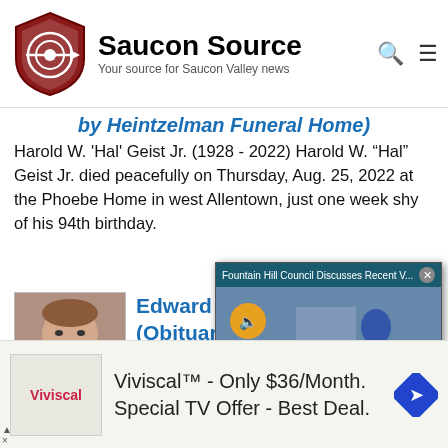[Figure (logo): Saucon Source logo with shield icon, title 'Saucon Source', subtitle 'Your source for Saucon Valley news']
by Heintzelman Funeral Home)
Harold W. 'Hal' Geist Jr. (1928 - 2022) Harold W. “Hal” Geist Jr. died peacefully on Thursday, Aug. 25, 2022 at the Phoebe Home in west Allentown, just one week shy of his 94th birthday.
[Figure (photo): Photo of Edward M. Heydt]
Edward M. ... (Obituary ... Heintzelman...)
Edward M. Heydt (1958 - ... Hellertown, died Sunday, ...
[Figure (screenshot): Video popup overlay: Fountain Hill Council Discusses Recent V... with mute button and caption FOUNTAIN HILL COUNCIL DISCUSSES RECENT VANDALISM AT BALLFIELD]
[Figure (other): Advertisement: Viviscal - Only $36/Month. Special TV Offer - Best Deal.]